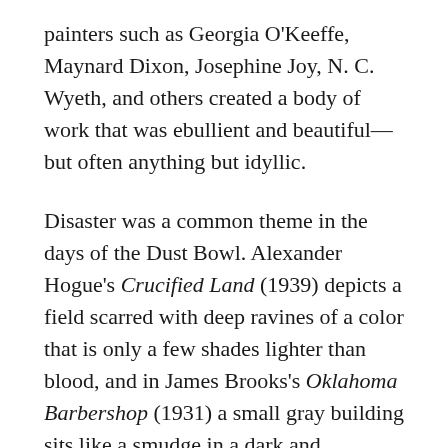painters such as Georgia O'Keeffe, Maynard Dixon, Josephine Joy, N. C. Wyeth, and others created a body of work that was ebullient and beautiful—but often anything but idyllic.
Disaster was a common theme in the days of the Dust Bowl. Alexander Hogue's Crucified Land (1939) depicts a field scarred with deep ravines of a color that is only a few shades lighter than blood, and in James Brooks's Oklahoma Barbershop (1931) a small gray building sits like a smudge in a dark and forbidding landscape of red earth that's more reminiscent of Mars than of the Midwest.